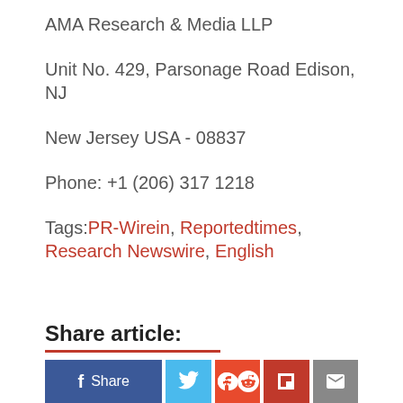AMA Research & Media LLP
Unit No. 429, Parsonage Road Edison, NJ
New Jersey USA - 08837
Phone: +1 (206) 317 1218
Tags: PR-Wirein, Reportedtimes, Research Newswire, English
Share article:
[Figure (other): Social share buttons: Facebook Share, Twitter, Reddit, Flipboard, Email]